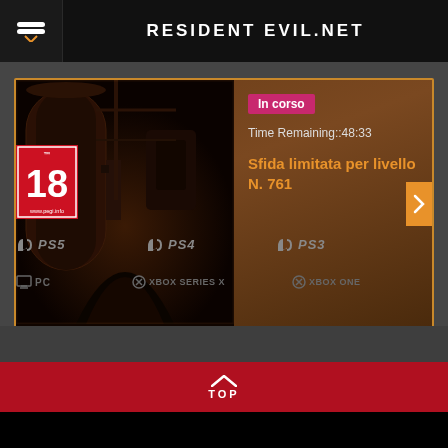RESIDENT EVIL.NET
[Figure (screenshot): Industrial game scene showing dark factory/sewer environment with large cylindrical tanks and tunnel]
In corso
Time Remaining::48:33
Sfida limitata per livello N. 761
TOP
[Figure (logo): PEGI 18 age rating logo with www.pegi.info URL]
PS5   PS4   PS3
PC   XBOX SERIES X   XBOX ONE